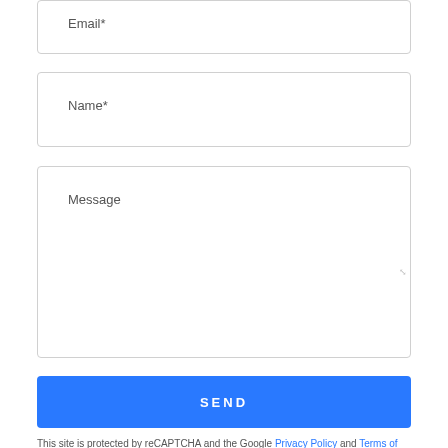Email*
Name*
Message
SEND
This site is protected by reCAPTCHA and the Google Privacy Policy and Terms of